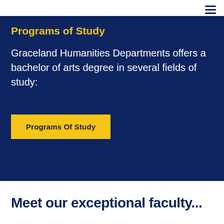≡
Programs of Study
Graceland Humanities Departments offers a bachelor of arts degree in several fields of study:
Programs Of Study
Meet our exceptional faculty...